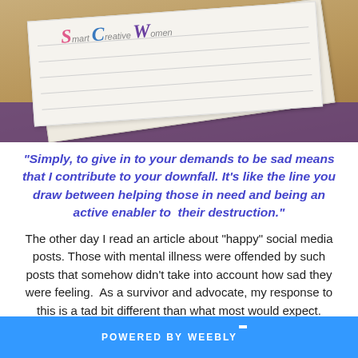[Figure (photo): Photo of Smart Creative Women branded papers/booklets on a wooden surface with purple cloth, showing the Smart Creative Women logo in colorful script text.]
"Simply, to give in to your demands to be sad means that I contribute to your downfall. It's like the line you draw between helping those in need and being an active enabler to  their destruction."
The other day I read an article about "happy" social media posts. Those with mental illness were offended by such posts that somehow didn't take into account how sad they were feeling.  As a survivor and advocate, my response to this is a tad bit different than what most would expect.
POWERED BY weebly